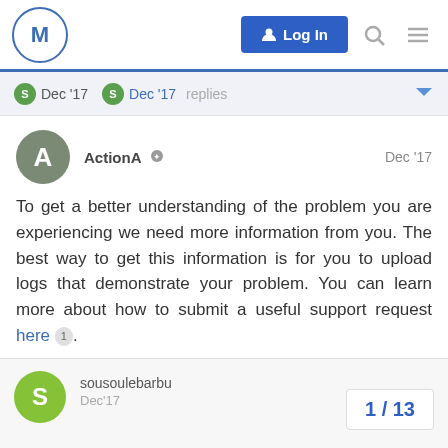M  Log In
S Dec '17   S Dec '17   replies
ActionA  Dec '17

To get a better understanding of the problem you are experiencing we need more information from you. The best way to get this information is for you to upload logs that demonstrate your problem. You can learn more about how to submit a useful support request here 1.

Thanks for your understanding. We hope that we can help you get up and running again shortly.
sousoulebarbu   Dec'17
1 / 13